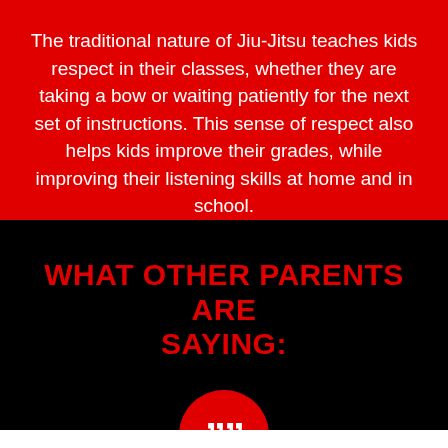The traditional nature of Jiu-Jitsu teaches kids respect in their classes, whether they are taking a bow or waiting patiently for the next set of instructions. This sense of respect also helps kids improve their grades, while improving their listening skills at home and in school.
WHAT OTHER PARENTS ARE SAYING:
[Figure (illustration): A large red circle with white quotation marks inside, with a downward-pointing triangular tail at the bottom, resembling a speech bubble or quote icon.]